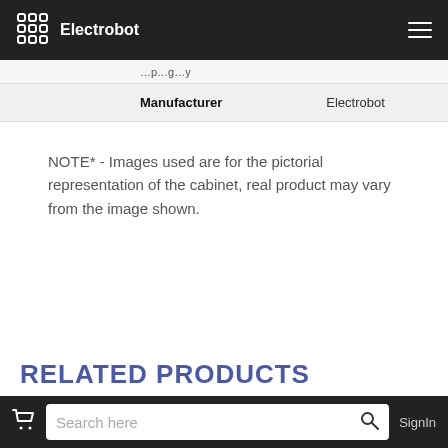Electrobot
| Manufacturer | Electrobot |
| --- | --- |
NOTE* - Images used are for the pictorial representation of the cabinet, real product may vary from the image shown.
RELATED PRODUCTS
Search here  SignIn